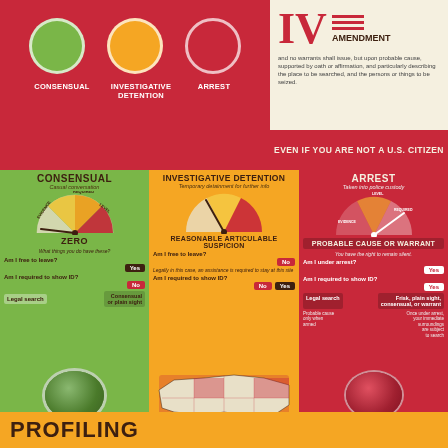IV AMENDMENT
and no warrants shall issue, but upon probable cause, supported by oath or affirmation, and particularly describing the place to be searched, and the persons or things to be seized.
EVEN IF YOU ARE NOT A U.S. CITIZEN
CONSENSUAL
Casual conversation
ZERO
What things you do have these?
Am I free to leave?
Am I required to show ID?
Legal search
Consensual or plain sight
OFFICER KNOCKS ON DOOR TO ASK IF YOU SAW ANYTHING
INVESTIGATIVE DETENTION
Temporary detainment for further info
REASONABLE ARTICULABLE SUSPICION
Am I free to leave?
Am I required to show ID?
26 STATES
Legal search
Consensual or plain sight
ARREST
Taken into police custody
PROBABLE CAUSE OR WARRANT
You have the right to remain silent.
Am I under arrest?
Am I required to show ID?
Legal search
Frisk, plain sight, consensual, or warrant
Probable cause only when armed
Once under arrest, your immediate surroundings are subject to search
OFFICER CATCHES YOU BREAKING AND ENTERING
PROFILING